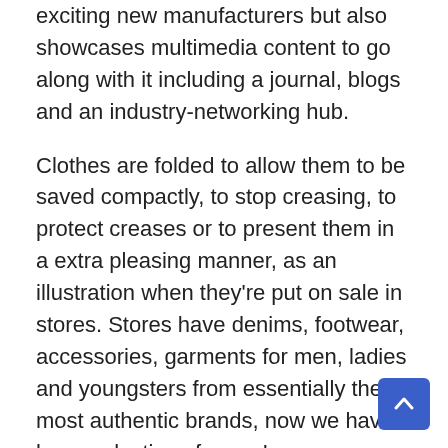exciting new manufacturers but also showcases multimedia content to go along with it including a journal, blogs and an industry-networking hub.
Clothes are folded to allow them to be saved compactly, to stop creasing, to protect creases or to present them in a extra pleasing manner, as an illustration when they're put on sale in stores. Stores have denims, footwear, accessories, garments for men, ladies and youngsters from essentially the most authentic brands, now we have large selections for you!
They organize the clothes in collections – Free People and many different larger shops do that as properly – and this makes the customer